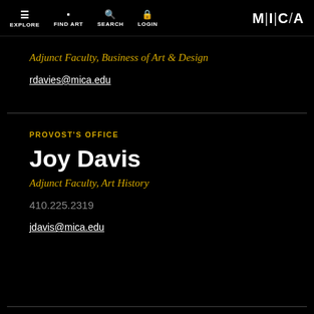EXPLORE | FIND ART | SEARCH | LOGIN | MICA
Adjunct Faculty, Business of Art & Design
rdavies@mica.edu
PROVOST'S OFFICE
Joy Davis
Adjunct Faculty, Art History
410.225.2319
jdavis@mica.edu